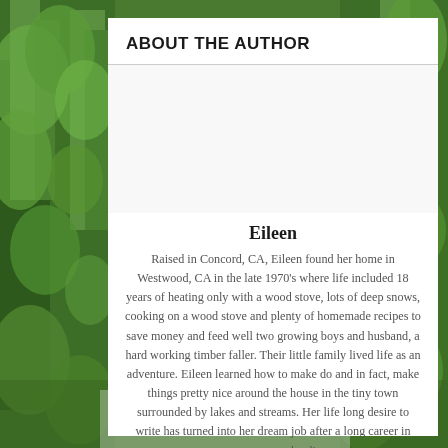ABOUT THE AUTHOR
[Figure (photo): Author photo placeholder (white/light area)]
Eileen
Raised in Concord, CA, Eileen found her home in Westwood, CA in the late 1970's where life included 18 years of heating only with a wood stove, lots of deep snows, cooking on a wood stove and plenty of homemade recipes to save money and feed well two growing boys and husband, a hard working timber faller. Their little family lived life as an adventure. Eileen learned how to make do and in fact, make things pretty nice around the house in the tiny town surrounded by lakes and streams. Her life long desire to write has turned into her dream job after a long career in newspaper and radio.